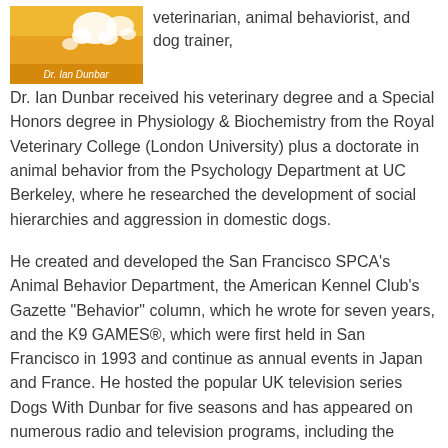[Figure (illustration): Book cover featuring Dr. Ian Dunbar with cartoon dog illustrations on a yellow/orange background. Text reads 'Dr. Ian Dunbar'.]
veterinarian, animal behaviorist, and dog trainer, Dr. Ian Dunbar received his veterinary degree and a Special Honors degree in Physiology & Biochemistry from the Royal Veterinary College (London University) plus a doctorate in animal behavior from the Psychology Department at UC Berkeley, where he researched the development of social hierarchies and aggression in domestic dogs.
He created and developed the San Francisco SPCA's Animal Behavior Department, the American Kennel Club's Gazette "Behavior" column, which he wrote for seven years, and the K9 GAMES®, which were first held in San Francisco in 1993 and continue as annual events in Japan and France. He hosted the popular UK television series Dogs With Dunbar for five seasons and has appeared on numerous radio and television programs, including the Today Show (US) and Dash Village (Japan).